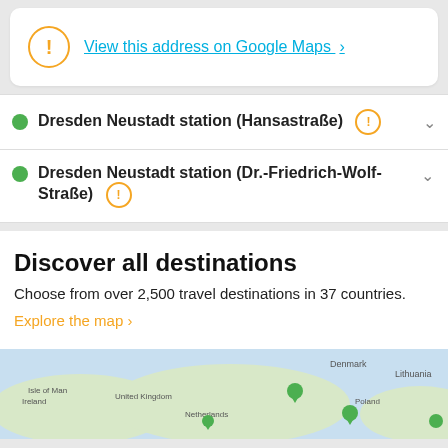View this address on Google Maps >
Dresden Neustadt station (Hansastraße)
Dresden Neustadt station (Dr.-Friedrich-Wolf-Straße)
Discover all destinations
Choose from over 2,500 travel destinations in 37 countries.
Explore the map >
[Figure (map): Map of Europe showing travel destinations marked with green location pins]